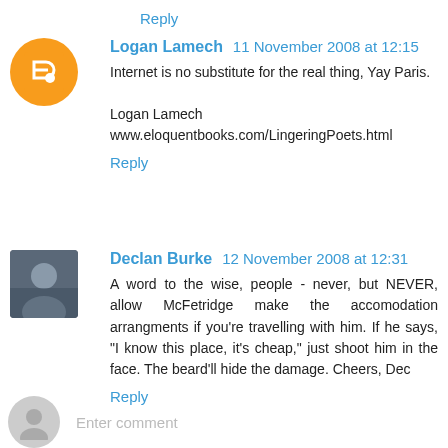Reply
Logan Lamech  11 November 2008 at 12:15
Internet is no substitute for the real thing, Yay Paris.

Logan Lamech
www.eloquentbooks.com/LingeringPoets.html
Reply
Declan Burke  12 November 2008 at 12:31
A word to the wise, people - never, but NEVER, allow McFetridge make the accomodation arrangments if you're travelling with him. If he says, "I know this place, it's cheap," just shoot him in the face. The beard'll hide the damage. Cheers, Dec
Reply
Enter comment